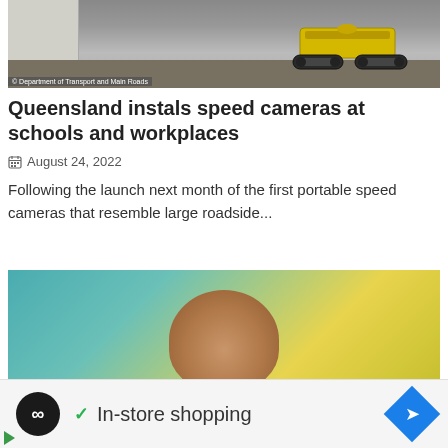[Figure (photo): Yellow tracked robot/vehicle on a concrete floor against a wall, photographed indoors]
© Department of Transport and Main Roads
Queensland instals speed cameras at schools and workplaces
August 24, 2022
Following the launch next month of the first portable speed cameras that resemble large roadside...
[Figure (photo): Close-up of the top of a bald person's head against a teal/yellow background]
✓ In-store shopping